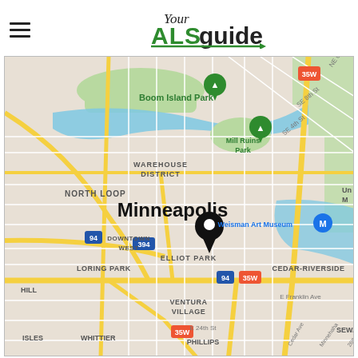[Figure (logo): Your ALS Guide logo with hamburger menu icon on the left]
[Figure (map): Google Maps view of Minneapolis, MN showing downtown area with a location pin on Downtown West near Elliot Park, showing neighborhoods: North Loop, Warehouse District, Mill Ruins Park, Boom Island Park, Cedar-Riverside, Loring Park, Ventura Village, Phillips, Whittier, Seward. Roads including I-94, I-394, 35W visible.]